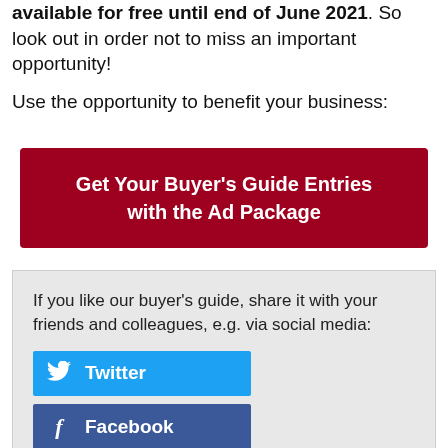available for free until end of June 2021. So look out in order not to miss an important opportunity!
Use the opportunity to benefit your business:
Get Your Buyer's Guide Entries with the Ad Package
If you like our buyer's guide, share it with your friends and colleagues, e.g. via social media:
Twitter
Facebook
LinkedIn